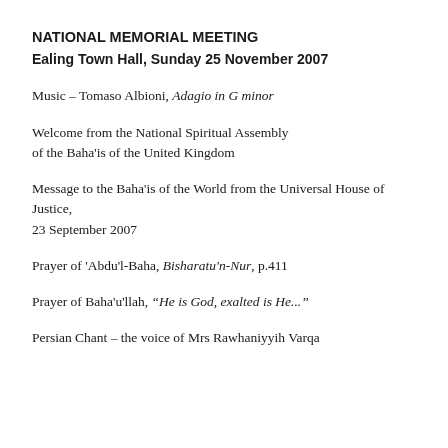NATIONAL MEMORIAL MEETING
Ealing Town Hall, Sunday 25 November 2007
Music – Tomaso Albioni, Adagio in G minor
Welcome from the National Spiritual Assembly of the Baha'is of the United Kingdom
Message to the Baha'is of the World from the Universal House of Justice,
23 September 2007
Prayer of 'Abdu'l-Baha, Bisharatu'n-Nur, p.411
Prayer of Baha'u'llah, “He is God, exalted is He...”
Persian Chant – the voice of Mrs Rawhaniyyih Varqa